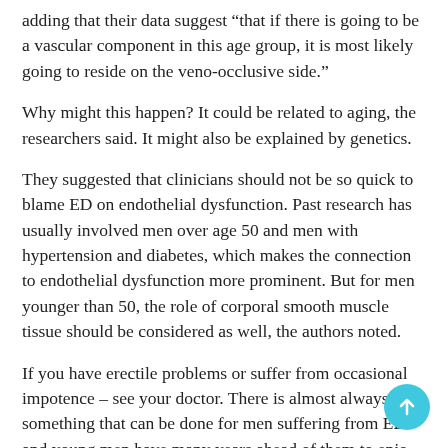adding that their data suggest “that if there is going to be a vascular component in this age group, it is most likely going to reside on the veno-occlusive side.”
Why might this happen? It could be related to aging, the researchers said. It might also be explained by genetics.
They suggested that clinicians should not be so quick to blame ED on endothelial dysfunction. Past research has usually involved men over age 50 and men with hypertension and diabetes, which makes the connection to endothelial dysfunction more prominent. But for men younger than 50, the role of corporal smooth muscle tissue should be considered as well, the authors noted.
If you have erectile problems or suffer from occasional impotence – see your doctor. There is almost always something that can be done for men suffering from ED – and young men have many years ahead of them to enjoy a rewarding sex life.